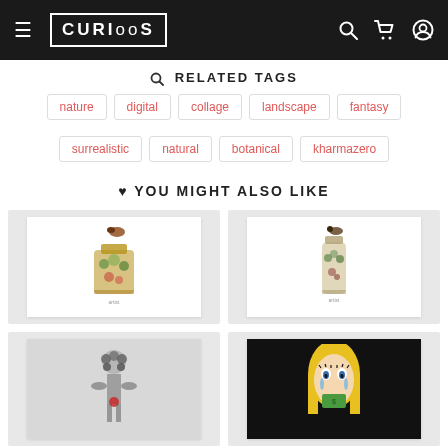CURIOSOS — navigation bar with hamburger menu, logo, search, cart, and account icons
🔍 RELATED TAGS
nature
digital
collage
landscape
fantasy
surrealistic
natural
botanical
kharmazero
♥ YOU MIGHT ALSO LIKE
[Figure (illustration): Art print of a decorative perfume bottle with botanical collage motifs and a bird on top]
[Figure (illustration): Art print of a tall perfume bottle with botanical elements and a bird on top]
[Figure (illustration): Art print of a figure made of black and white flowers/botanical elements]
[Figure (illustration): Pop art print of a crying woman with blonde hair and green liquid, black background]